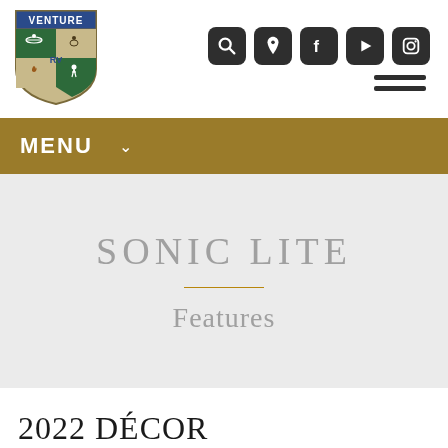[Figure (logo): Venture RV shield logo with outdoor activity quadrants (kayaking, cycling, camping, hiking) in green and beige with blue banner]
[Figure (infographic): Row of 5 dark rounded-square social/navigation icons: search, location pin, Facebook, play/YouTube, Instagram]
[Figure (infographic): Hamburger menu icon with two horizontal bars]
MENU ∨
SONIC LITE
Features
2022 DÉCOR